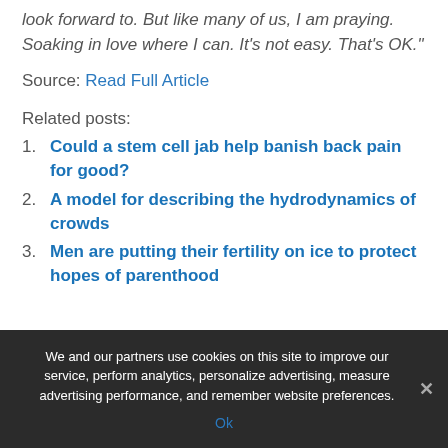look forward to. But like many of us, I am praying. Soaking in love where I can. It's not easy. That's OK."
Source: Read Full Article
Related posts:
1. Could a stem cell jab help banish back pain for good?
2. A model for describing the hydrodynamics of crowds
3. Men are putting their fertility on ice to protect hopes of parenthood
We and our partners use cookies on this site to improve our service, perform analytics, personalize advertising, measure advertising performance, and remember website preferences.
Ok